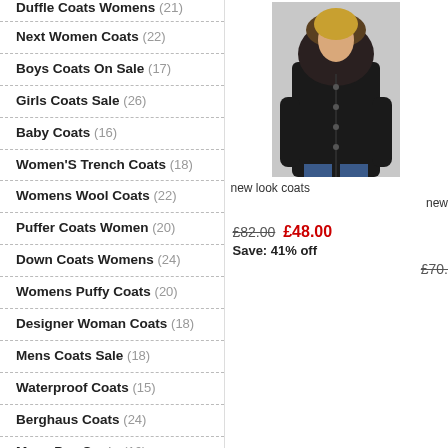Duffle Coats Womens (21)
Next Women Coats (22)
Boys Coats On Sale (17)
Girls Coats Sale (26)
Baby Coats (16)
Women'S Trench Coats (18)
Womens Wool Coats (22)
Puffer Coats Women (20)
Down Coats Womens (24)
Womens Puffy Coats (20)
Designer Woman Coats (18)
Mens Coats Sale (18)
Waterproof Coats (15)
Berghaus Coats (24)
Mens Pea Coats (16)
Coats Stone Island (13)
[Figure (photo): Woman wearing a dark puffer coat with fur-trimmed hood, shown from waist up against a light grey background]
new look coats
£82.00  £48.00
Save: 41% off